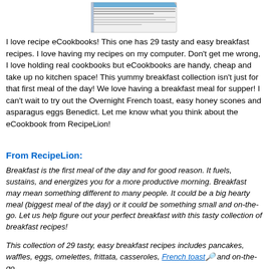[Figure (illustration): A partial image of an eCookbook cover shown at the top of the page]
I love recipe eCookbooks!  This one has 29 tasty and easy breakfast recipes.  I love having my recipes on my computer.  Don't get me wrong, I love holding real cookbooks but eCookbooks are handy, cheap and take up no kitchen space! This yummy breakfast collection isn't just for that first meal of the day!  We love having a breakfast meal for supper!  I can't wait to try out the Overnight French toast, easy honey scones and asparagus eggs Benedict. Let me know what you think about the eCookbook from RecipeLion!
From RecipeLion:
Breakfast is the first meal of the day and for good reason. It fuels, sustains, and energizes you for a more productive morning. Breakfast may mean something different to many people. It could be a big hearty meal (biggest meal of the day) or it could be something small and on-the-go. Let us help figure out your perfect breakfast with this tasty collection of breakfast recipes!
This collection of 29 tasty, easy breakfast recipes includes pancakes, waffles, eggs, omelettes, frittata, casseroles, French toast and on-the-go